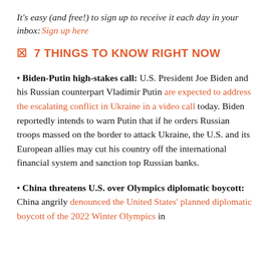It's easy (and free!) to sign up to receive it each day in your inbox:  Sign up here
☑ 7 THINGS TO KNOW RIGHT NOW
Biden-Putin high-stakes call: U.S. President Joe Biden and his Russian counterpart Vladimir Putin are expected to address the escalating conflict in Ukraine in a video call today. Biden reportedly intends to warn Putin that if he orders Russian troops massed on the border to attack Ukraine, the U.S. and its European allies may cut his country off the international financial system and sanction top Russian banks.
China threatens U.S. over Olympics diplomatic boycott: China angrily denounced the United States' planned diplomatic boycott of the 2022 Winter Olympics in